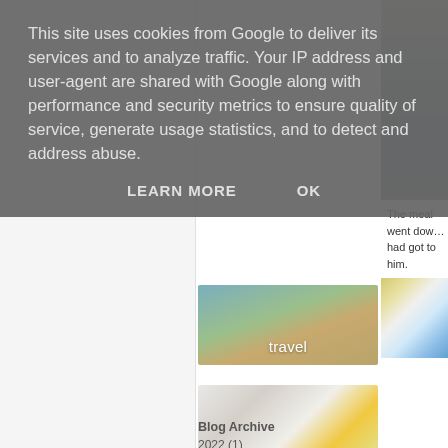This site uses cookies from Google to deliver its services and to analyze traffic. Your IP address and user-agent are shared with Google along with performance and security metrics to ensure quality of service, generate usage statistics, and to detect and address abuse.
LEARN MORE
OK
[Figure (photo): Beach/coastal photo with sand and water, labeled 'travel']
[Figure (photo): Interior home decor photo with white furniture and yellow and striped items, labeled 'home']
Blog Archive
2022 (1)
[Figure (photo): Partial photo of outdoor/deck area on right side]
The meal went dow... had got to him.
[Figure (photo): Partial photo showing white letter/number shapes on blue background]